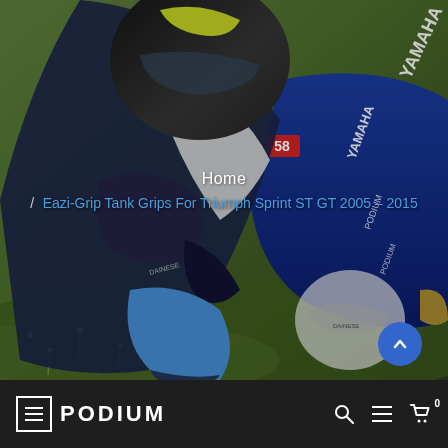[Figure (photo): Motorcycle racer leaning into a corner on a blue Yamaha R6 Podium motorcycle, wearing Dainese leathers and a helmet with yellow accents, grassy background]
Home / Eazi-Grip Tank Grips For Triumph Sprint ST GT 2005 – 2015
[Figure (other): Scroll-to-top circular blue button with upward chevron arrow]
[Figure (logo): PODIUM logo in footer — hamburger menu icon, PODIUM text, search icon, lines icon, basket icon with 0 badge]